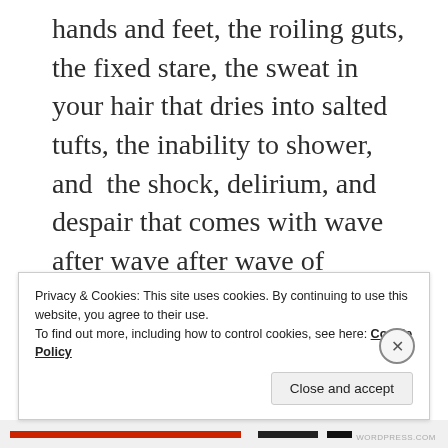hands and feet, the roiling guts, the fixed stare, the sweat in your hair that dries into salted tufts, the inability to shower, and  the shock, delirium, and despair that comes with wave after wave after wave of infection and breathlessness through every hour for weeks on end, night and day. Wasted, wheezy, exhausted. Losing a stone.  Losing my mind. Losing . . .
Privacy & Cookies: This site uses cookies. By continuing to use this website, you agree to their use.
To find out more, including how to control cookies, see here: Cookie Policy
[Close and accept]